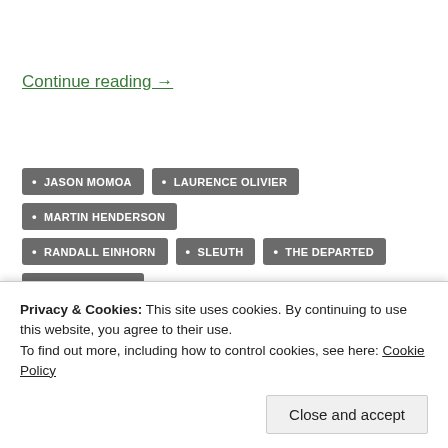Continue reading →
JASON MOMOA
LAURENCE OLIVIER
MARTIN HENDERSON
RANDALL EINHORN
SLEUTH
THE DEPARTED
THE RED ROAD
WES STUDI
Privacy & Cookies: This site uses cookies. By continuing to use this website, you agree to their use.
To find out more, including how to control cookies, see here: Cookie Policy
Close and accept